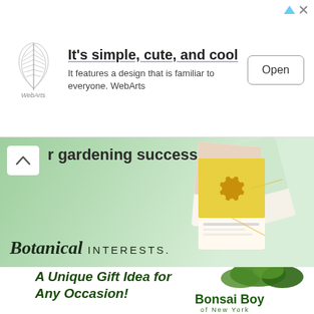[Figure (screenshot): WebArts app advertisement banner with feather logo, headline 'It's simple, cute, and cool', subtext 'It features a design that is familiar to everyone. WebArts', and an Open button]
[Figure (screenshot): Botanical Interests gardening advertisement banner with green background, text 'r gardening success.' and 'Botanical INTERESTS.' logo, with collage of seed packet images on the right]
[Figure (screenshot): Bonsai Boy of New York advertisement with bonsai tree image and text 'A Unique Gift Idea for Any Occasion!']